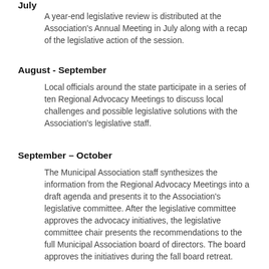July
A year-end legislative review is distributed at the Association's Annual Meeting in July along with a recap of the legislative action of the session.
August - September
Local officials around the state participate in a series of ten Regional Advocacy Meetings to discuss local challenges and possible legislative solutions with the Association's legislative staff.
September – October
The Municipal Association staff synthesizes the information from the Regional Advocacy Meetings into a draft agenda and presents it to the Association's legislative committee. After the legislative committee approves the advocacy initiatives, the legislative committee chair presents the recommendations to the full Municipal Association board of directors. The board approves the initiatives during the fall board retreat.